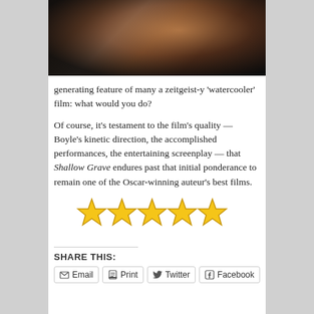[Figure (photo): Blurred close-up photo of a hand/arm reaching out, dark background with some lighting]
generating feature of many a zeitgeist-y 'watercooler' film: what would you do?
Of course, it's testament to the film's quality — Boyle's kinetic direction, the accomplished performances, the entertaining screenplay — that Shallow Grave endures past that initial ponderance to remain one of the Oscar-winning auteur's best films.
[Figure (other): Five yellow star rating icons]
SHARE THIS:
Email
Print
Twitter
Facebook